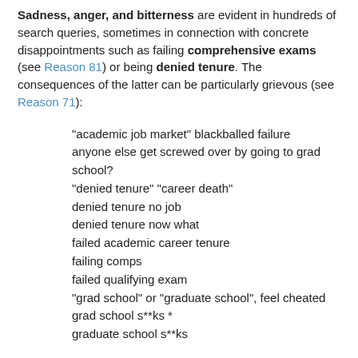Sadness, anger, and bitterness are evident in hundreds of search queries, sometimes in connection with concrete disappointments such as failing comprehensive exams (see Reason 81) or being denied tenure. The consequences of the latter can be particularly grievous (see Reason 71):
"academic job market" blackballed failure
anyone else get screwed over by going to grad school?
"denied tenure" "career death"
denied tenure no job
denied tenure now what
failed academic career tenure
failing comps
failed qualifying exam
"grad school" or "graduate school", feel cheated
grad school s**ks *
graduate school s**ks